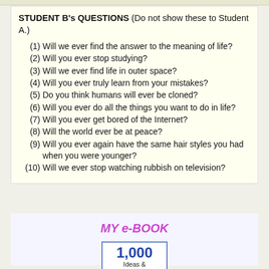STUDENT B's QUESTIONS (Do not show these to Student A.)
(1)  Will we ever find the answer to the meaning of life?
(2)  Will you ever stop studying?
(3)  Will we ever find life in outer space?
(4)  Will you ever truly learn from your mistakes?
(5)  Do you think humans will ever be cloned?
(6)  Will you ever do all the things you want to do in life?
(7)  Will you ever get bored of the Internet?
(8)  Will the world ever be at peace?
(9)  Will you ever again have the same hair styles you had when you were younger?
(10) Will we ever stop watching rubbish on television?
MY e-BOOK
[Figure (other): Book cover showing '1,000 Ideas &' text in a blue-bordered box]